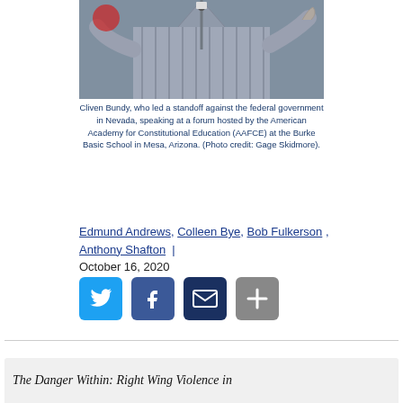[Figure (photo): Photo of Cliven Bundy gesturing while speaking, wearing a striped shirt, with red star decoration visible in background]
Cliven Bundy, who led a standoff against the federal government in Nevada, speaking at a forum hosted by the American Academy for Constitutional Education (AAFCE) at the Burke Basic School in Mesa, Arizona. (Photo credit: Gage Skidmore).
Edmund Andrews, Colleen Bye, Bob Fulkerson, Anthony Shafton | October 16, 2020
[Figure (other): Social media sharing buttons: Twitter, Facebook, Email, More]
The Danger Within: Right Wing Violence in